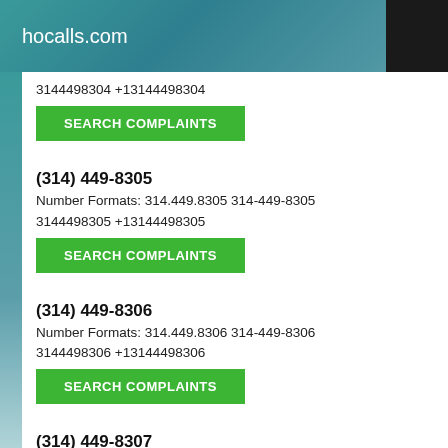hocalls.com
3144498304 +13144498304
SEARCH COMPLAINTS
(314) 449-8305
Number Formats: 314.449.8305 314-449-8305 3144498305 +13144498305
SEARCH COMPLAINTS
(314) 449-8306
Number Formats: 314.449.8306 314-449-8306 3144498306 +13144498306
SEARCH COMPLAINTS
(314) 449-8307
Number Formats: 314.449.8307 314-449-8307